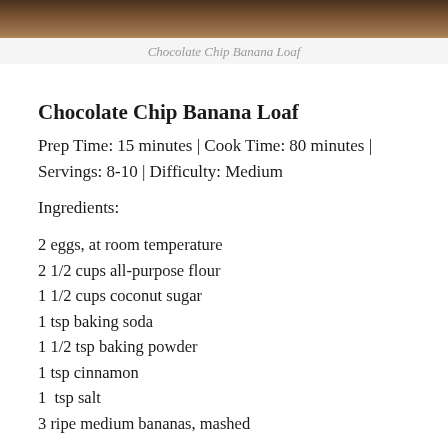[Figure (photo): Photo of Chocolate Chip Banana Loaf, cropped — only bottom strip visible]
Chocolate Chip Banana Loaf
Chocolate Chip Banana Loaf
Prep Time: 15 minutes | Cook Time: 80 minutes | Servings: 8-10 | Difficulty: Medium
Ingredients:
2 eggs, at room temperature
2 1/2 cups all-purpose flour
1 1/2 cups coconut sugar
1 tsp baking soda
1 1/2 tsp baking powder
1 tsp cinnamon
1  tsp salt
3 ripe medium bananas, mashed